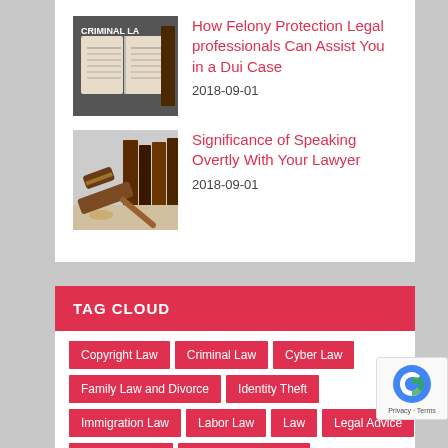[Figure (photo): Criminal law book open with text CRIMINAL LA visible on left side]
How Felony Protection Legal professionals Can Assist You in a Dui Case
2018-09-01
[Figure (photo): Judge gavel with law books in background]
Significance of Speaking Overtly With Your Lawyer
2018-09-01
TAG CLOUD
Copyright Law
Criminal Law
Cyber Law
Family Law and Divorce
Identity Theft
Immigration Law
Labor Law
Law
Legal Advice
Personal Injury
Private Investigation